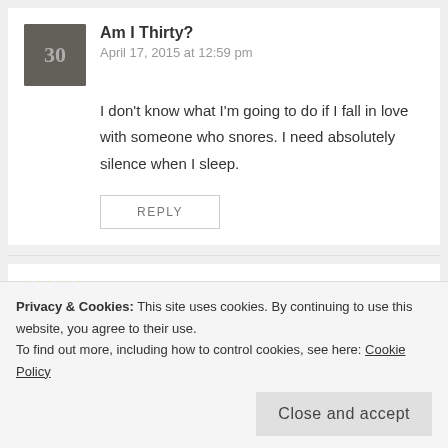[Figure (illustration): Avatar image for 'Am I Thirty?' commenter — dark gray square with decorative number 30 text]
Am I Thirty?
April 17, 2015 at 12:59 pm
I don't know what I'm going to do if I fall in love with someone who snores. I need absolutely silence when I sleep.
REPLY
[Figure (illustration): Yellow-green dotted/floral pattern avatar for Clover commenter]
Clover
April 11, 2015 at 10:16 am
Huh. This is really great. I feel exactly, exactly the same.
Privacy & Cookies: This site uses cookies. By continuing to use this website, you agree to their use.
To find out more, including how to control cookies, see here: Cookie Policy
Close and accept